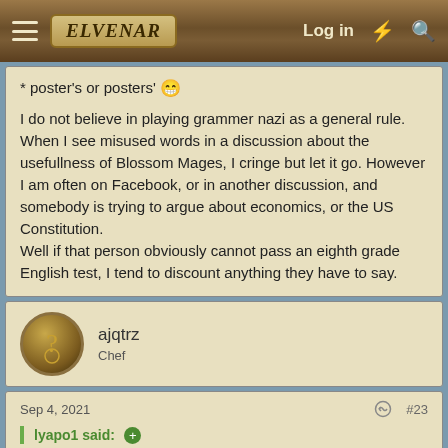ELVENAR — Log in
* poster's or posters' 😁

I do not believe in playing grammer nazi as a general rule. When I see misused words in a discussion about the usefullness of Blossom Mages, I cringe but let it go. However
I am often on Facebook, or in another discussion, and somebody is trying to argue about economics, or the US Constitution.
Well if that person obviously cannot pass an eighth grade English test, I tend to discount anything they have to say.
ajqtrz
Chef
Sep 4, 2021   #23
lyapo1 said: ⊕